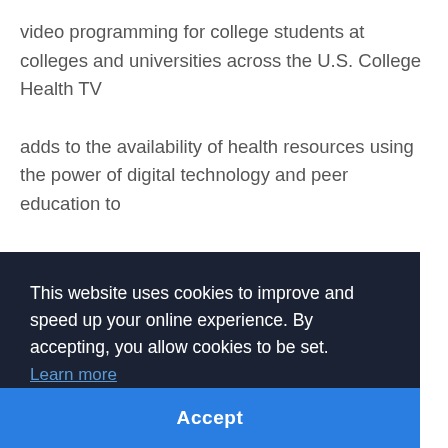video programming for college students at colleges and universities across the U.S. College Health TV adds to the availability of health resources using the power of digital technology and peer education to further engage students in their own health and wellness while increasing the capabilities of colleges
This website uses cookies to improve and speed up your online experience. By accepting, you allow cookies to be set. Learn more
Accept